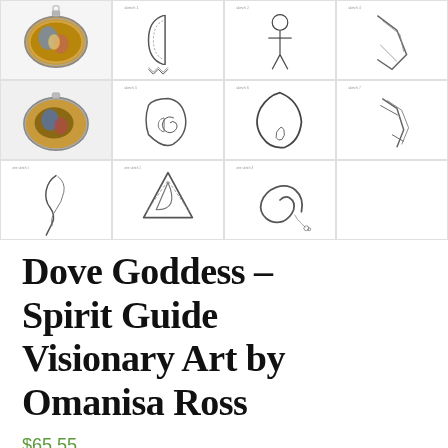[Figure (photo): Grid of product images showing a Dove Goddess pendant jewelry piece - including photos of the finished enamel/art pendant and multiple line drawing sketches showing the design from different angles, wire wrapping details, and chain]
Dove Goddess – Spirit Guide Visionary Art by Omanisa Ross
$65.55